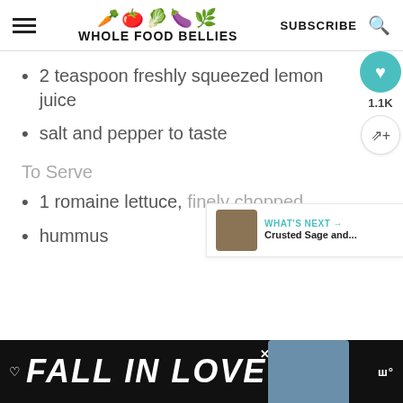WHOLE FOOD BELLIES
2 teaspoon freshly squeezed lemon juice
salt and pepper to taste
To Serve
1 romaine lettuce, finely chopped
hummus